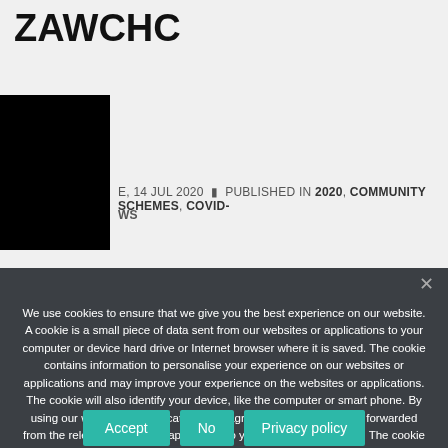ZAWCHC
E, 14 JUL 2020  PUBLISHED IN 2020, COMMUNITY SCHEMES, COVID-
WS
We use cookies to ensure that we give you the best experience on our website. A cookie is a small piece of data sent from our websites or applications to your computer or device hard drive or Internet browser where it is saved. The cookie contains information to personalise your experience on our websites or applications and may improve your experience on the websites or applications. The cookie will also identify your device, like the computer or smart phone. By using our websites or applications you agree that cookies may be forwarded from the relevant website or application to your computer or device. The cookie will enable us to know that you have visited the website or application before and will identify you. We may also use the cookie to prevent fraud and for analytics.